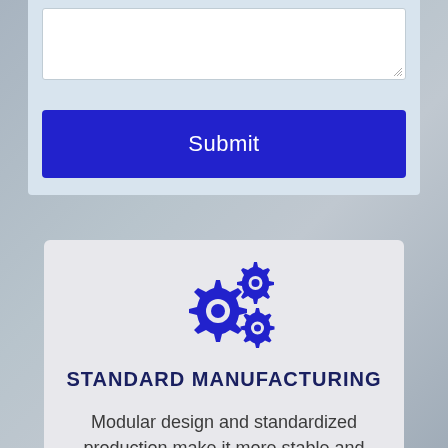[Figure (screenshot): White textarea input box with resize handle at bottom-right corner]
[Figure (other): Blue Submit button on light blue background]
[Figure (illustration): Blue gears icon — two larger gears and one smaller gear arranged together, colored in royal blue]
STANDARD MANUFACTURING
Modular design and standardized production make it more stable and